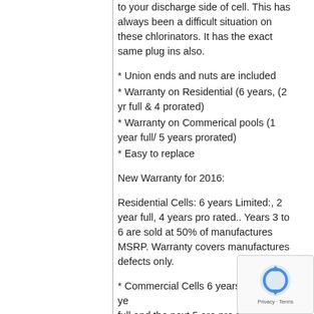to your discharge side of cell. This has always been a difficult situation on these chlorinators. It has the exact same plug ins also.
* Union ends and nuts are included
* Warranty on Residential (6 years, (2 yr full & 4 prorated)
* Warranty on Commerical pools (1 year full/ 5 years prorated)
* Easy to replace
New Warranty for 2016:
Residential Cells: 6 years Limited:, 2 year full, 4 years pro rated.. Years 3 to 6 are sold at 50% of manufactures MSRP. Warranty covers manufactures defects only.
* Commercial Cells 6 years Limited. 1 year full and the next 5 are pro rated at 2nd year (80% off Manufactures MSRP), 3rd year (60% off Manufactures MSRP), 4th Year